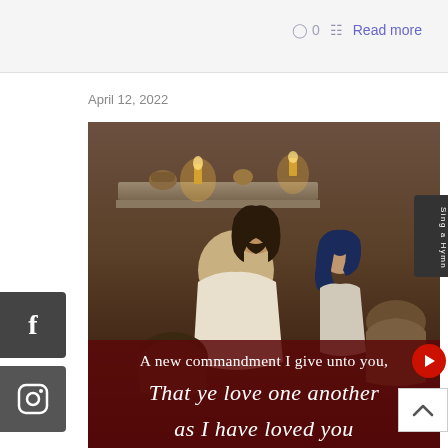0   Read more
April 12, 2022
[Figure (photo): A cinematic photo of Jesus Christ speaking to a group of followers in a stone interior, with candles and pottery in the background. Overlaid text reads: 'A new commandment I give unto you, That ye love one another, as I have loved you']